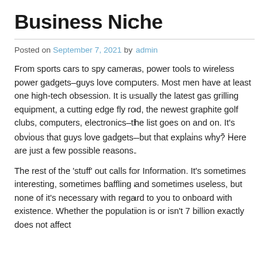Business Niche
Posted on September 7, 2021 by admin
From sports cars to spy cameras, power tools to wireless power gadgets–guys love computers. Most men have at least one high-tech obsession. It is usually the latest gas grilling equipment, a cutting edge fly rod, the newest graphite golf clubs, computers, electronics–the list goes on and on. It's obvious that guys love gadgets–but that explains why? Here are just a few possible reasons.
The rest of the 'stuff' out calls for Information. It's sometimes interesting, sometimes baffling and sometimes useless, but none of it's necessary with regard to you to onboard with existence. Whether the population is or isn't 7 billion exactly does not affect